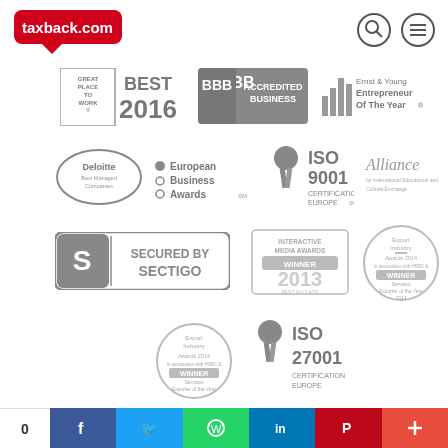[Figure (logo): taxback.com logo - red speech bubble with white text]
[Figure (logo): Search and menu icons (circle with magnifying glass and circle with three lines)]
[Figure (logo): Great Place To Work Best 2016 badge (grayscale)]
[Figure (logo): BBB Accredited Business badge (grayscale)]
[Figure (logo): Ernst & Young Entrepreneur Of The Year badge (grayscale)]
[Figure (logo): Deloitte Best Managed Companies badge (grayscale oval)]
[Figure (logo): European Business Awards logo (grayscale)]
[Figure (logo): ISO 9001 Certification Europe badge (grayscale)]
[Figure (logo): Alliance for International Educational and Cultural Exchange logo (grayscale)]
[Figure (logo): Secured by Sectigo badge (grayscale rectangle)]
[Figure (logo): Interactive Media Awards Winner 2013 Best in Class badge (grayscale)]
[Figure (logo): Export Industry Awards 2014 Winner Services Exporter of the Year badge (grayscale circle)]
[Figure (logo): Export Industry Awards 2014 Winner Services Exporter of the Year badge (grayscale circle, bottom row)]
[Figure (logo): ISO 27001 Certification Europe badge (grayscale)]
0  [Facebook] [Twitter] [WhatsApp] [LinkedIn] [Pinterest] [Plus]